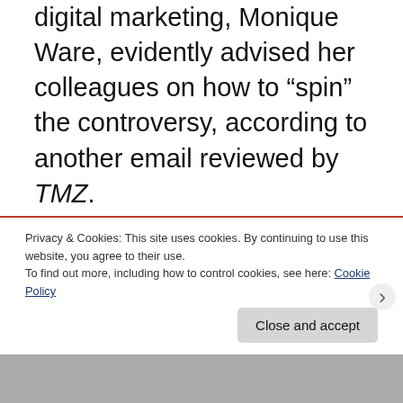digital marketing, Monique Ware, evidently advised her colleagues on how to “spin” the controversy, according to another email reviewed by TMZ.
“The spin should be he was late for a live show and subsequently replaced and it would have been awkward in a live show to have the person assuming his role removed and him inserted,” Ware
Privacy & Cookies: This site uses cookies. By continuing to use this website, you agree to their use.
To find out more, including how to control cookies, see here: Cookie Policy
Close and accept